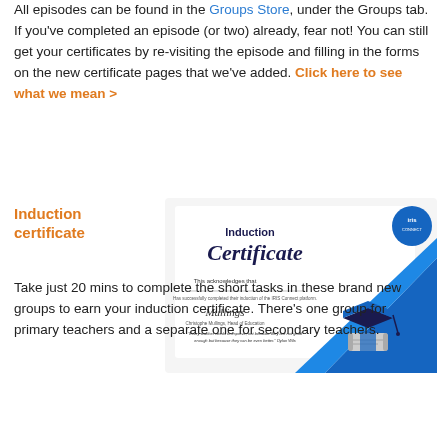All episodes can be found in the Groups Store, under the Groups tab. If you've completed an episode (or two) already, fear not! You can still get your certificates by re-visiting the episode and filling in the forms on the new certificate pages that we've added. Click here to see what we mean >
Induction certificate
[Figure (illustration): Induction Certificate document with graduation cap, IRIS logo, and blue diagonal design]
Take just 20 mins to complete the short tasks in these brand new groups to earn your induction certificate. There's one group for primary teachers and a separate one for secondary teachers.